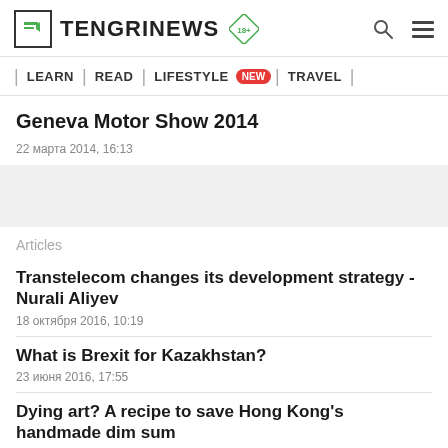TENGRINEWS
| LEARN | READ | LIFESTYLE NEW | TRAVEL |
Geneva Motor Show 2014
22 марта 2014, 16:13
[Figure (photo): Gray placeholder image for article]
Articles
Transtelecom changes its development strategy - Nurali Aliyev
18 октября 2016, 10:19
What is Brexit for Kazakhstan?
23 июня 2016, 17:55
Dying art? A recipe to save Hong Kong's handmade dim sum